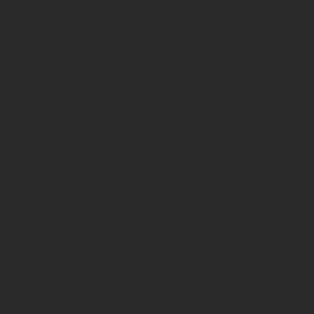[Figure (screenshot): Social activity feed showing user entries with avatars, names, and actions. Left portion is dark background. Right portion shows entries for users: (partial top entry with 'Cool givea...'), JENNIFER (Subscribed...), CYNTHIA (Signed up...), MICHELE (Like you o...), SABRINA (signed up...).]
AUG 08 - Cool givea...
JENNIFER - AUG 08 - Subscribed...
CYNTHIA - AUG 08 - Signed up...
MICHELE - AUG 08 - Like you o...
SABRINA - AUG 08 - signed up...